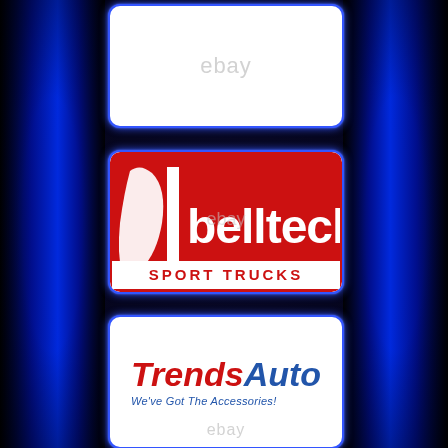[Figure (logo): White rounded card with 'ebay' watermark text in light gray]
[Figure (logo): Belltech Sport Trucks logo — red background with white 'belltech' text and 'SPORT TRUCKS' banner, with 'ebay' watermark overlay]
[Figure (logo): TrendsAuto logo — 'Trends' in red italic and 'Auto' in blue italic with tagline 'We've Got The Accessories!' in blue, with 'ebay' watermark at bottom]